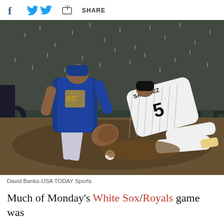f  [twitter]  [share]  SHARE
[Figure (photo): Baseball action photo in heavy rain: A Kansas City Royals infielder in blue uniform dropping the ball while a Chicago White Sox player number 5 (Sanchez) slides into base, mud and water spraying everywhere. Photo by David Banks-USA TODAY Sports.]
David Banks-USA TODAY Sports
Much of Monday's White Sox/Royals game was